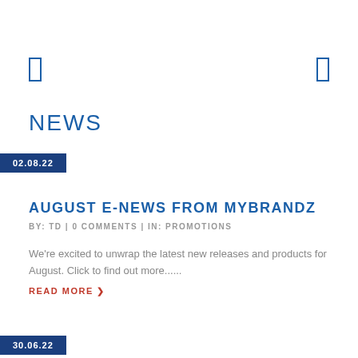[Figure (other): Navigation arrows (left and right bracket-style arrows) for a web page carousel]
NEWS
02.08.22
AUGUST E-NEWS FROM MYBRANDZ
BY: TD | 0 COMMENTS | IN: PROMOTIONS
We're excited to unwrap the latest new releases and products for August. Click to find out more......
READ MORE ❯
30.06.22